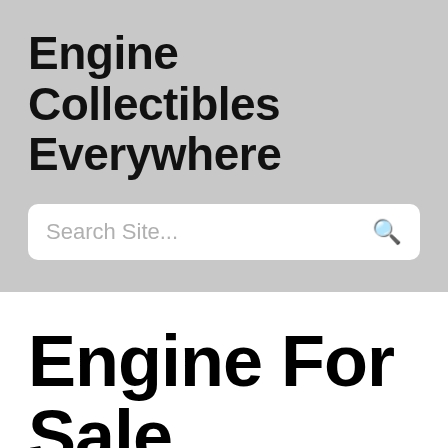Engine Collectibles Everywhere
Search Site...
Engine For Sale